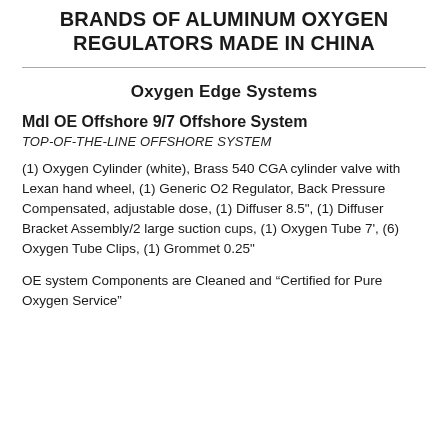BRANDS OF ALUMINUM OXYGEN REGULATORS MADE IN CHINA
Oxygen Edge Systems
Mdl OE Offshore 9/7 Offshore System
TOP-OF-THE-LINE OFFSHORE SYSTEM
(1) Oxygen Cylinder (white), Brass 540 CGA cylinder valve with Lexan hand wheel, (1) Generic O2 Regulator, Back Pressure Compensated, adjustable dose, (1) Diffuser 8.5", (1) Diffuser Bracket Assembly/2 large suction cups, (1) Oxygen Tube 7', (6) Oxygen Tube Clips, (1) Grommet 0.25"
OE system Components are Cleaned and “Certified for Pure Oxygen Service”